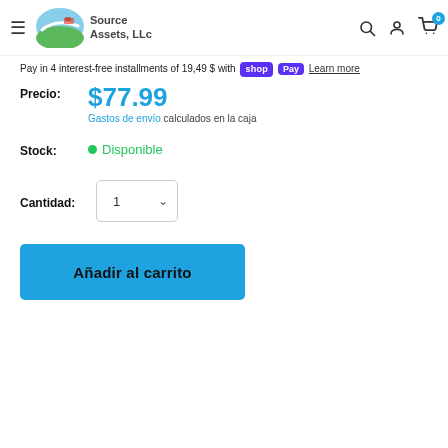[Figure (logo): Source Assets, LLC logo with colored swoosh/land graphic]
Pay in 4 interest-free installments of 19,49 $ with Shop Pay Learn more
Precio: $77.99
Gastos de envío calculados en la caja
Stock: Disponible
Cantidad: 1
Añadir al carrito